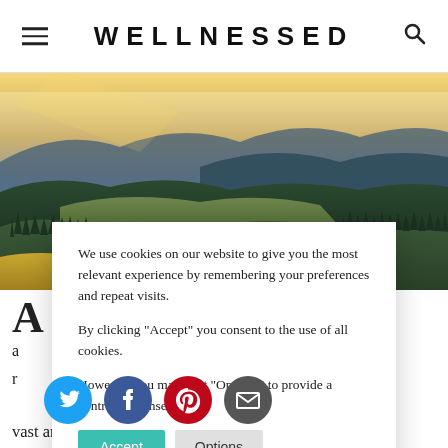WELLNESSED
[Figure (photo): Scenic mountain landscape with misty valleys, rolling hills covered in pine forests, warm sunlight breaking through mist, aerial view]
We use cookies on our website to give you the most relevant experience by remembering your preferences and repeat visits.

By clicking "Accept" you consent to the use of all cookies.

However, you may visit "Options" to provide a controlled consent.
Accept    Options
[Figure (infographic): Social share icons: Twitter (blue circle), Facebook (dark blue circle), Pinterest (red circle), Email (gray circle)]
vast and glorious wonders of nature. It's a delight to all